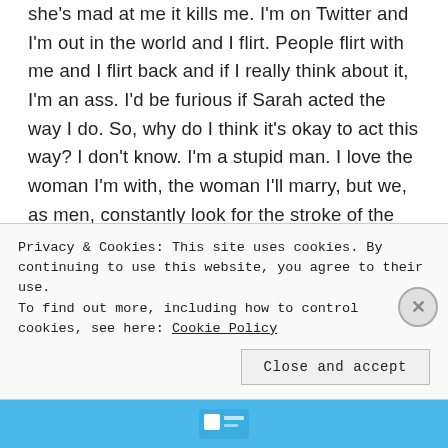she's mad at me it kills me. I'm on Twitter and I'm out in the world and I flirt. People flirt with me and I flirt back and if I really think about it, I'm an ass. I'd be furious if Sarah acted the way I do. So, why do I think it's okay to act this way? I don't know. I'm a stupid man. I love the woman I'm with, the woman I'll marry, but we, as men, constantly look for the stroke of the ego. Why? I don't know! That's the difference between men and women. I love Sarah because she's stuck with me through thick and thin, literally. Good and bad. At the end of the night, I know she loves me. And I'm faithful to that love. Am I
Privacy & Cookies: This site uses cookies. By continuing to use this website, you agree to their use.
To find out more, including how to control cookies, see here: Cookie Policy
Close and accept